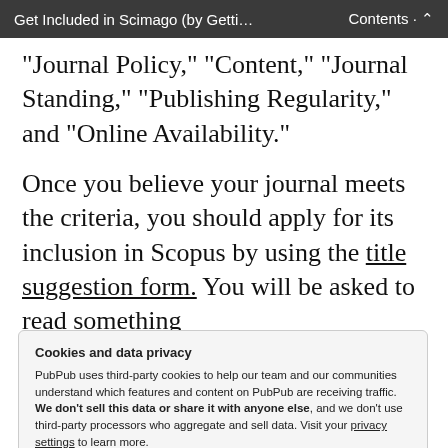Get Included in Scimago (by Getti…   Contents   ·   ⌃
“Journal Policy,” “Content,” “Journal Standing,” “Publishing Regularity,” and “Online Availability.”
Once you believe your journal meets the criteria, you should apply for its inclusion in Scopus by using the title suggestion form.  You will be asked to read something
Cookies and data privacy
PubPub uses third-party cookies to help our team and our communities understand which features and content on PubPub are receiving traffic. We don't sell this data or share it with anyone else, and we don't use third-party processors who aggregate and sell data. Visit your privacy settings to learn more.
about the journal, publisher, and editor(s):